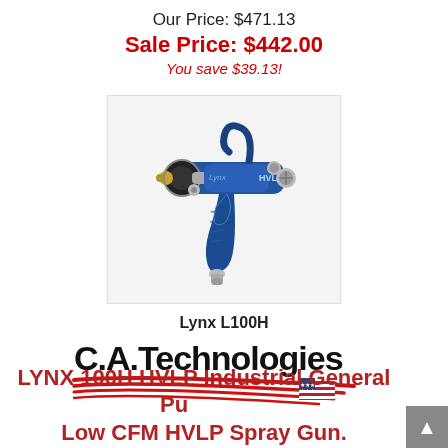Our Price: $471.13
Sale Price: $442.00
You save $39.13!
[Figure (photo): Blue HVLP spray gun (Lynx L100H) with black nozzle cap and gold tip, trigger grip, and air fitting at bottom]
Lynx L100H
[Figure (logo): C.A.Technologies logo with bold black text and red swoosh lines beneath, with US flag icon]
LYNX 100H HVLP Industrial General Pu Low CFM HVLP Spray Gun.